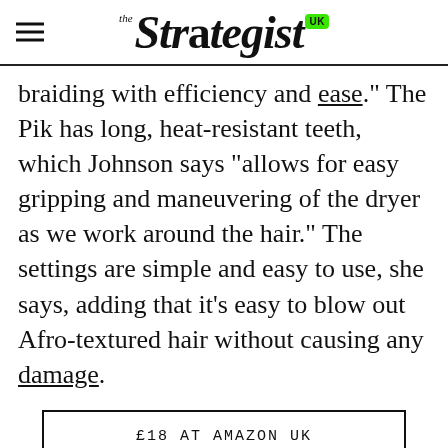the Strategist UK
braiding with efficiency and ease.” The Pik has long, heat-resistant teeth, which Johnson says “allows for easy gripping and maneuvering of the dryer as we work around the hair.” The settings are simple and easy to use, she says, adding that it’s easy to blow out Afro-textured hair without causing any damage.
£18 AT AMAZON UK
ADVERTISEMENT